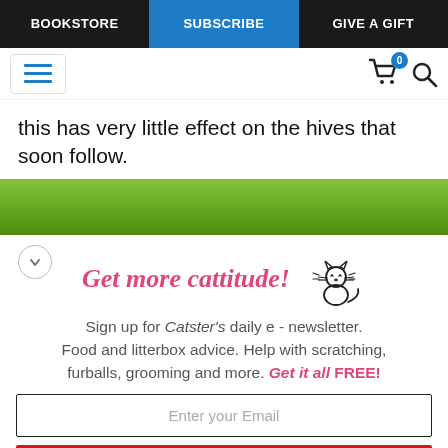BOOKSTORE | SUBSCRIBE | GIVE A GIFT
[Figure (screenshot): Website header icons row with hamburger menu, shopping cart with badge showing 0, and search icon]
this has very little effect on the hives that soon follow.
[Figure (photo): Green blurred nature/foliage background image banner]
[Figure (illustration): Newsletter signup widget with cat illustration, 'Get more cattitude!' heading, description text about Catster's daily e-newsletter, email input field, and YES! SIGN ME UP button]